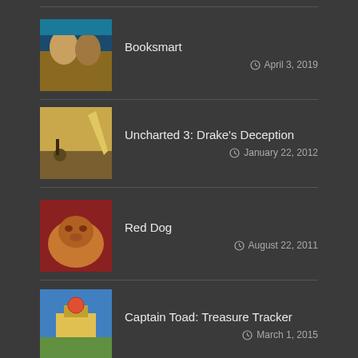Booksmart
April 3, 2019
Uncharted 3: Drake's Deception
January 22, 2012
Red Dog
August 22, 2011
Captain Toad: Treasure Tracker
March 1, 2015
Explanation
July 2, 2003
ARCHIVES CONT.
A-League 2014/15